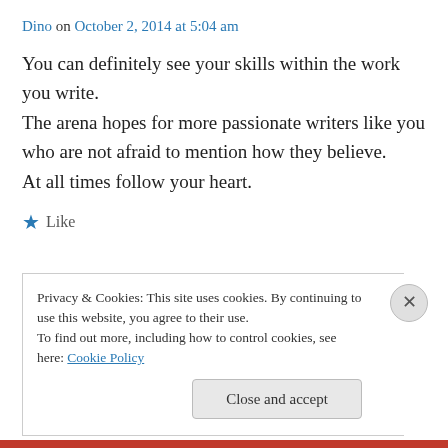Dino on October 2, 2014 at 5:04 am
You can definitely see your skills within the work you write.
The arena hopes for more passionate writers like you who are not afraid to mention how they believe.
At all times follow your heart.
★ Like
Privacy & Cookies: This site uses cookies. By continuing to use this website, you agree to their use.
To find out more, including how to control cookies, see here: Cookie Policy
Close and accept